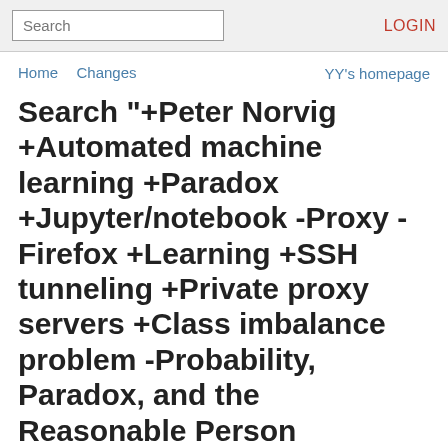Search  LOGIN
Home  Changes  YY's homepage
Search "+Peter Norvig +Automated machine learning +Paradox +Jupyter/notebook -Proxy -Firefox +Learning +SSH tunneling +Private proxy servers +Class imbalance problem -Probability, Paradox, and the Reasonable Person Principle +Probability +Artemy Kolchinsky -Simpson's paradox -Deep learning"
Pages related to: